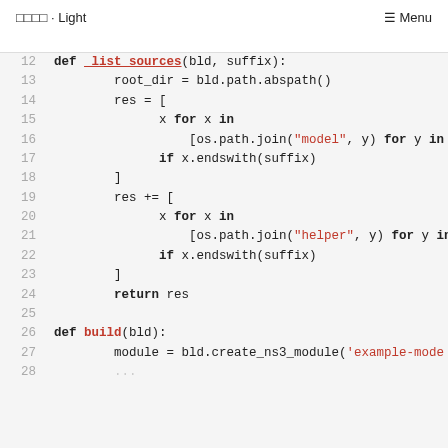□□□□ · Light  ☰ Menu
[Figure (screenshot): Python source code snippet showing lines 12-27 of a file. Defines _list_sources(bld, suffix) and build(bld) functions. Code uses os.path.join with 'model' and 'helper' string literals highlighted in red, and keywords def, for, in, if, return, build in bold. Line numbers 12-27 shown on left in gray.]